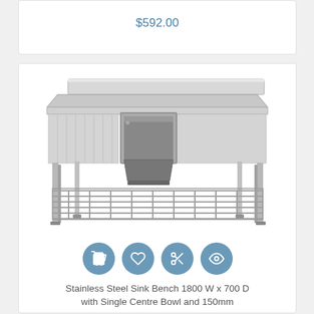$592.00
[Figure (photo): Stainless steel sink bench with single centre bowl, draining boards on both sides, wire shelf underneath, and metal legs.]
Stainless Steel Sink Bench 1800 W x 700 D with Single Centre Bowl and 150mm